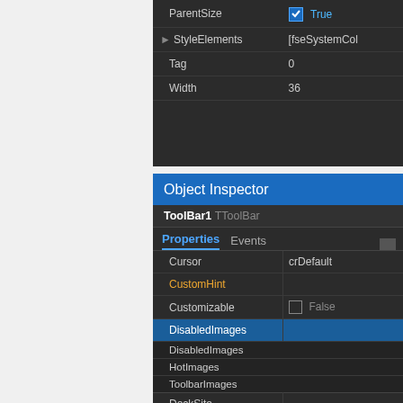[Figure (screenshot): Top portion of a dark-themed IDE property editor showing properties: ParentSize, StyleElements (with arrow), Tag (value 0), Width (value 36), with True checkbox for first row and [fseSystemCol... value for StyleElements]
[Figure (screenshot): Object Inspector panel in dark theme showing ToolBar1 TToolBar component. Properties tab active. Properties listed: Cursor (crDefault), CustomHint (orange, no value), Customizable (False with checkbox), DisabledImages (selected/highlighted in blue), DockSite, DoubleBuffered, DragCursor, DragKind (dkDrag). DisabledImages row shows a dropdown with options: DisabledImages, HotImages, ToolbarImages.]
Font collection
TLMDFontCollection provides the possibility to use so called private fonts, which are fonts, loaded during the application run-time, without installing